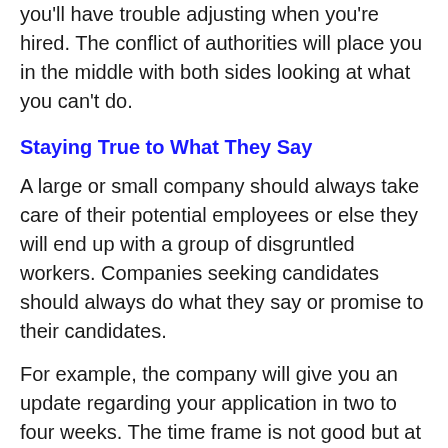you'll have trouble adjusting when you're hired. The conflict of authorities will place you in the middle with both sides looking at what you can't do.
Staying True to What They Say
A large or small company should always take care of their potential employees or else they will end up with a group of disgruntled workers. Companies seeking candidates should always do what they say or promise to their candidates.
For example, the company will give you an update regarding your application in two to four weeks. The time frame is not good but at least they are honest enough that they will take a while. A company that does not stay true on what they say only means they